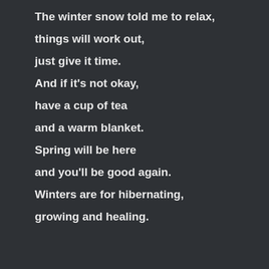The winter snow told me to relax,

things will work out,

just give it time.

And if it's not okay,

have a cup of tea

and a warm blanket.

Spring will be here

and you'll be good again.

Winters are for hibernating,

growing and healing.